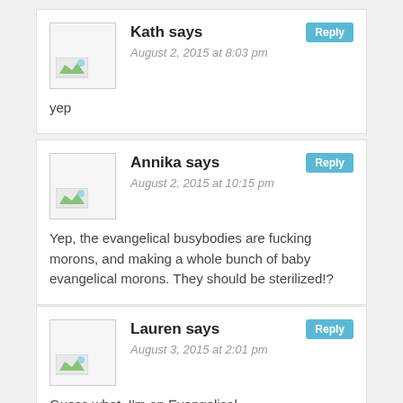Kath says
August 2, 2015 at 8:03 pm
yep
Annika says
August 2, 2015 at 10:15 pm
Yep, the evangelical busybodies are fucking morons, and making a whole bunch of baby evangelical morons. They should be sterilized!?
Lauren says
August 3, 2015 at 2:01 pm
Guess what, I'm an Evangelical